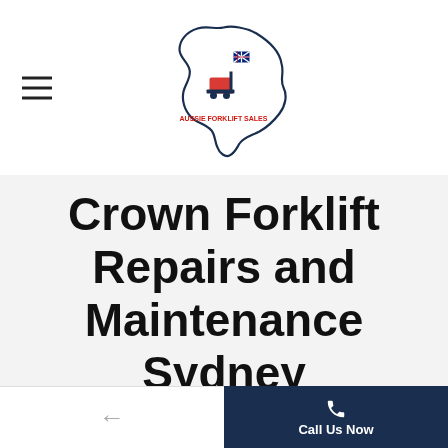Aussie Forklift Sales — navigation header with logo
Crown Forklift Repairs and Maintenance Sydney
No place like AFS!
Aussie Forklift Sales is among the top repair and maintenance service providers for Crown forklifts. It does